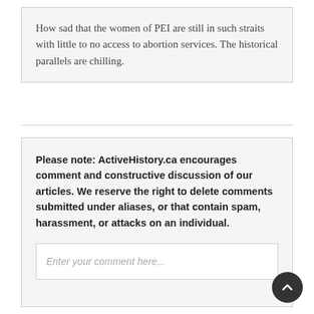How sad that the women of PEI are still in such straits with little to no access to abortion services. The historical parallels are chilling.
Please note: ActiveHistory.ca encourages comment and constructive discussion of our articles. We reserve the right to delete comments submitted under aliases, or that contain spam, harassment, or attacks on an individual.
Enter your comment here...